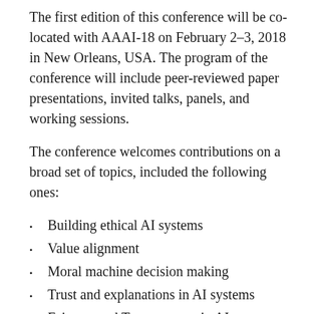The first edition of this conference will be co-located with AAAI-18 on February 2-3, 2018 in New Orleans, USA. The program of the conference will include peer-reviewed paper presentations, invited talks, panels, and working sessions.
The conference welcomes contributions on a broad set of topics, included the following ones:
Building ethical AI systems
Value alignment
Moral machine decision making
Trust and explanations in AI systems
Fairness and Transparency in AI systems